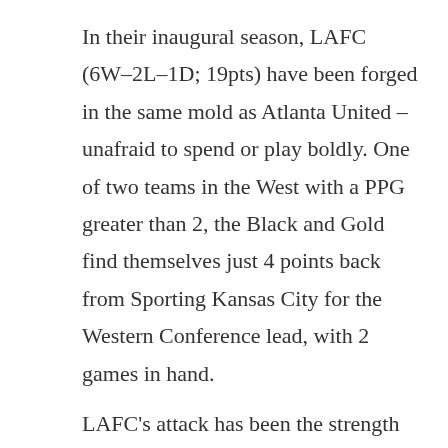In their inaugural season, LAFC (6W–2L–1D; 19pts) have been forged in the same mold as Atlanta United – unafraid to spend or play boldly. One of two teams in the West with a PPG greater than 2, the Black and Gold find themselves just 4 points back from Sporting Kansas City for the Western Conference lead, with 2 games in hand.

LAFC's attack has been the strength of the squad. Carlos Vela, Diego Rossi, and Marco Ureña have found outstanding chemistry between them, with Vela leading the team in goals (5) plus Rossi and Ureña tied for the team